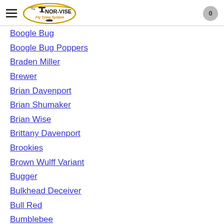Nor-Vise Fly Tying System
Boogle Bug
Boogle Bug Poppers
Braden Miller
Brewer
Brian Davenport
Brian Shumaker
Brian Wise
Brittany Davenport
Brookies
Brown Wulff Variant
Bugger
Bulkhead Deceiver
Bull Red
Bumblebee